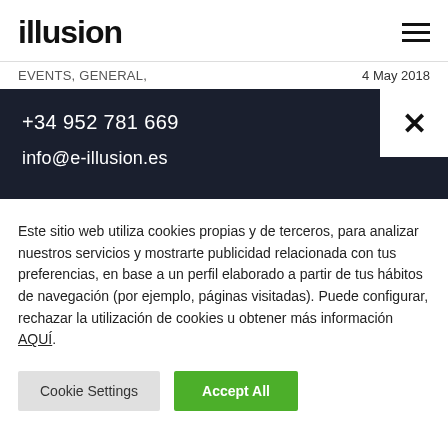illusion
EVENTS, GENERAL,    4 May 2018
+34 952 781 669
info@e-illusion.es
Este sitio web utiliza cookies propias y de terceros, para analizar nuestros servicios y mostrarte publicidad relacionada con tus preferencias, en base a un perfil elaborado a partir de tus hábitos de navegación (por ejemplo, páginas visitadas). Puede configurar, rechazar la utilización de cookies u obtener más información AQUÍ.
Cookie Settings | Accept All